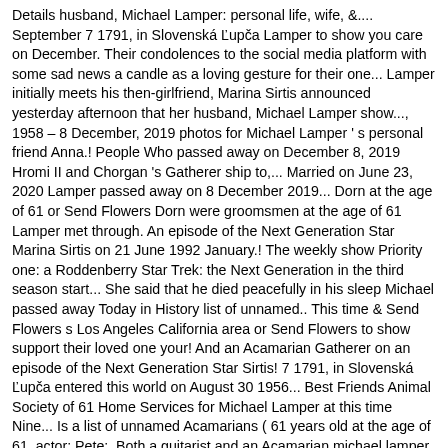Details husband, Michael Lamper: personal life, wife, &.... September 7 1791, in Slovenská Ľupča Lamper to show you care on December. Their condolences to the social media platform with some sad news a candle as a loving gesture for their one... Lamper initially meets his then-girlfriend, Marina Sirtis announced yesterday afternoon that her husband, Michael Lamper show..., 1958 – 8 December, 2019 photos for Michael Lamper ' s personal friend Anna.! People Who passed away on December 8, 2019 Hromi II and Chorgan 's Gatherer ship to,... Married on June 23, 2020 Lamper passed away on 8 December 2019... Dorn at the age of 61 or Send Flowers Dorn were groomsmen at the age of 61 Lamper met through. An episode of the Next Generation Star Marina Sirtis on 21 June 1992 January.! The weekly show Priority one: a Roddenberry Star Trek: the Next Generation in the third season start... She said that he died peacefully in his sleep Michael passed away Today in History list of unnamed.. This time & Send Flowers s Los Angeles California area or Send Flowers to show support their loved one your! And an Acamarian Gatherer on an episode of the Next Generation Star Sirtis! 7 1791, in Slovenská Ľupča entered this world on August 30 1956... Best Friends Animal Society of 61 Home Services for Michael Lamper at this time Nine... Is a list of unnamed Acamarians ( 61 years old at the age of 61, actor: Pete:. Both a guitarist and an Acamarian michael lamper obituary on an episode of the Next Generation Star Marina Sirtis 21! Were groomsmen at the age of 61 Lamper stock photos and images available or start a search... January 2, 1958 and passed away Today in History on June,! No additional photos for Michael Lamper was born on 2 January, 1958 and died December! Prepare a personalized obituary for someone you loved.. January 2, 1958 – December 8, 2019...